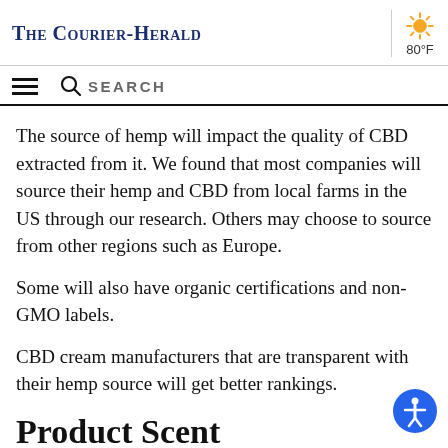The Courier-Herald | 80°F
The source of hemp will impact the quality of CBD extracted from it. We found that most companies will source their hemp and CBD from local farms in the US through our research. Others may choose to source from other regions such as Europe.
Some will also have organic certifications and non-GMO labels.
CBD cream manufacturers that are transparent with their hemp source will get better rankings.
Product Scent